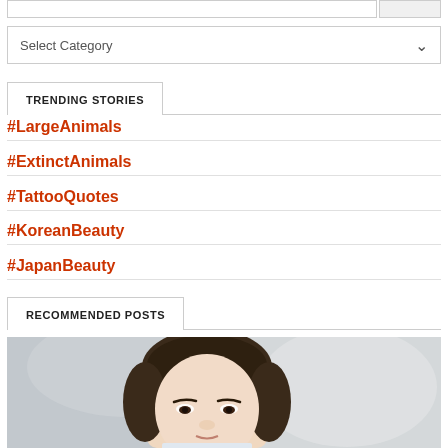Select Category
TRENDING STORIES
#LargeAnimals
#ExtinctAnimals
#TattooQuotes
#KoreanBeauty
#JapanBeauty
RECOMMENDED POSTS
[Figure (photo): Portrait photo of a young Asian woman with dark hair pulled back, looking at the camera, blurred grey/white background.]